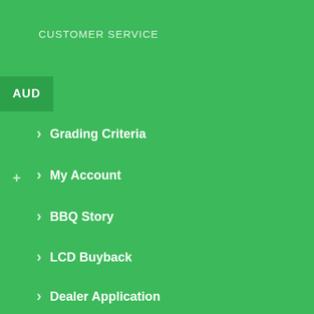CUSTOMER SERVICE
Grading Criteria
My Account
BBQ Story
LCD Buyback
Dealer Application
POLICIES
Terms & Conditions
Warranty
Privacy Policy
Shipping
CONTACT INFO